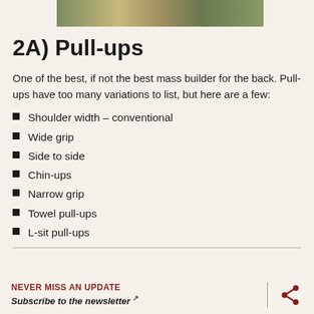[Figure (photo): Partial top view of an outdoor scene with grass and ground, appears to be a person doing outdoor exercise]
2A)  Pull-ups
One of the best, if not the best mass builder for the back. Pull-ups have too many variations to list, but here are a few:
Shoulder width – conventional
Wide grip
Side to side
Chin-ups
Narrow grip
Towel pull-ups
L-sit pull-ups
NEVER MISS AN UPDATE  Subscribe to the newsletter ↗